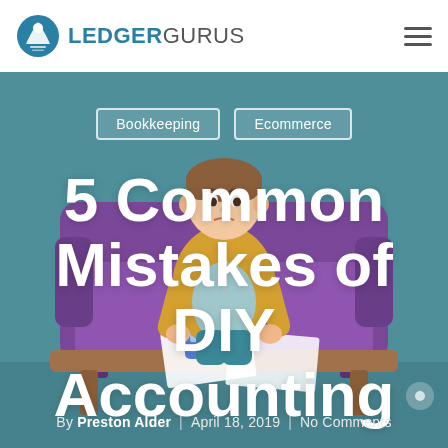LedgerGurus
Bookkeeping | Ecommerce
5 Common Mistakes of DIY Accounting
[Figure (illustration): Cartoon illustration of a confused man sitting on a purple couch at a desk with papers and a calculator, set against a teal/grey hero background]
By Preston Alder  |  April 18, 2019  |  No Comments